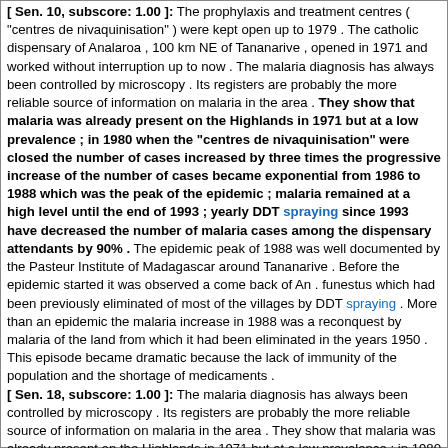[ Sen. 10, subscore: 1.00 ]: The prophylaxis and treatment centres ( "centres de nivaquinisation" ) were kept open up to 1979 . The catholic dispensary of Analaroa , 100 km NE of Tananarive , opened in 1971 and worked without interruption up to now . The malaria diagnosis has always been controlled by microscopy . Its registers are probably the more reliable source of information on malaria in the area . They show that malaria was already present on the Highlands in 1971 but at a low prevalence ; in 1980 when the "centres de nivaquinisation" were closed the number of cases increased by three times the progressive increase of the number of cases became exponential from 1986 to 1988 which was the peak of the epidemic ; malaria remained at a high level until the end of 1993 ; yearly DDT spraying since 1993 have decreased the number of malaria cases among the dispensary attendants by 90% . The epidemic peak of 1988 was well documented by the Pasteur Institute of Madagascar around Tananarive . Before the epidemic started it was observed a come back of An . funestus which had been previously eliminated of most of the villages by DDT spraying . More than an epidemic the malaria increase in 1988 was a reconquest by malaria of the land from which it had been eliminated in the years 1950 . This episode became dramatic because the lack of immunity of the population and the shortage of medicaments .
[ Sen. 18, subscore: 1.00 ]: The malaria diagnosis has always been controlled by microscopy . Its registers are probably the more reliable source of information on malaria in the area . They show that malaria was already present on the Highlands in 1971 but at a low prevalence ; in 1980 when the "centres de nivaquinisation" were closed the number of cases increased by three times the progressive increase of the number of cases became exponential from 1986 to 1988 which was the peak of the epidemic ; malaria remained at a high level until the end of 1993 ; yearly DDT spraying since 1993 have decreased the number of malaria cases among the dispensary attendants by 90% . The epidemic peak of